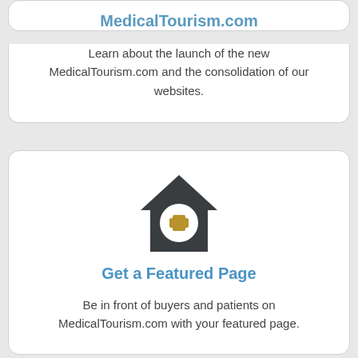MedicalTourism.com
Learn about the launch of the new MedicalTourism.com and the consolidation of our websites.
[Figure (illustration): House icon with a medical cross symbol (plus sign) in a circle at the center, dark charcoal color with gold/tan cross]
Get a Featured Page
Be in front of buyers and patients on MedicalTourism.com with your featured page.